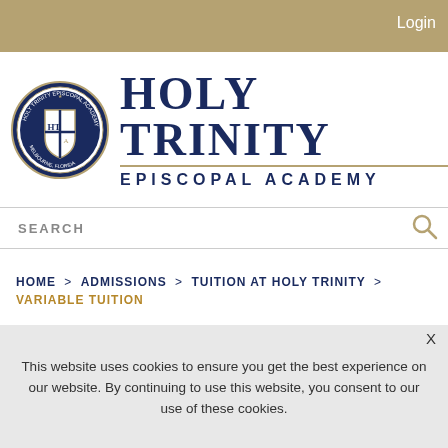Login
[Figure (logo): Holy Trinity Episcopal Academy logo with circular seal and school name]
SEARCH
HOME > ADMISSIONS > TUITION AT HOLY TRINITY > VARIABLE TUITION
This website uses cookies to ensure you get the best experience on our website. By continuing to use this website, you consent to our use of these cookies.